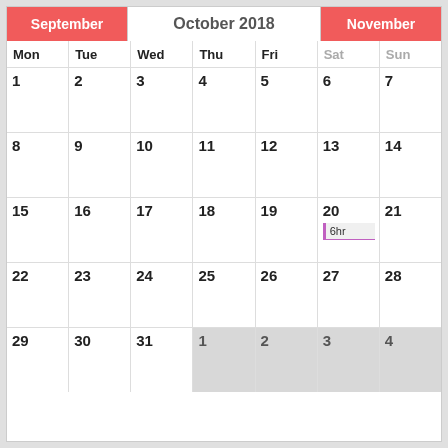October 2018
| Mon | Tue | Wed | Thu | Fri | Sat | Sun |
| --- | --- | --- | --- | --- | --- | --- |
| 1 | 2 | 3 | 4 | 5 | 6 | 7 |
| 8 | 9 | 10 | 11 | 12 | 13 | 14 |
| 15 | 16 | 17 | 18 | 19 | 20 (6hr) | 21 |
| 22 | 23 | 24 | 25 | 26 | 27 | 28 |
| 29 | 30 | 31 | 1 | 2 | 3 | 4 |